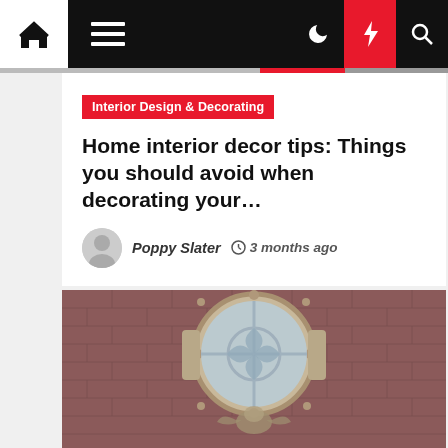Navigation bar with home, menu, moon, lightning, search icons
Interior Design & Decorating
Home interior decor tips: Things you should avoid when decorating your…
Poppy Slater  3 months ago
[Figure (photo): A circular ornate stone window with cross and circle geometric glazing on a red brick wall facade, with a decorative carved figure below]